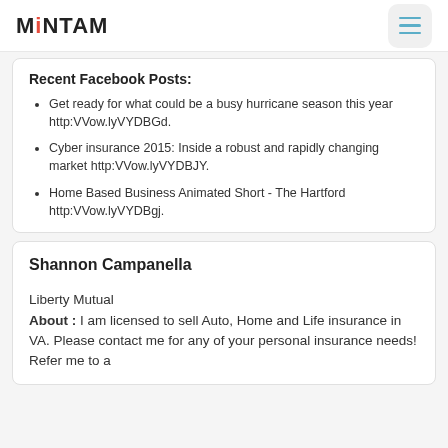MiNTAM
Recent Facebook Posts:
Get ready for what could be a busy hurricane season this year http:VVow.lyVYDBGd.
Cyber insurance 2015: Inside a robust and rapidly changing market http:VVow.lyVYDBJY.
Home Based Business Animated Short - The Hartford http:VVow.lyVYDBgj.
Shannon Campanella
Liberty Mutual
About : I am licensed to sell Auto, Home and Life insurance in VA. Please contact me for any of your personal insurance needs! Refer me to a